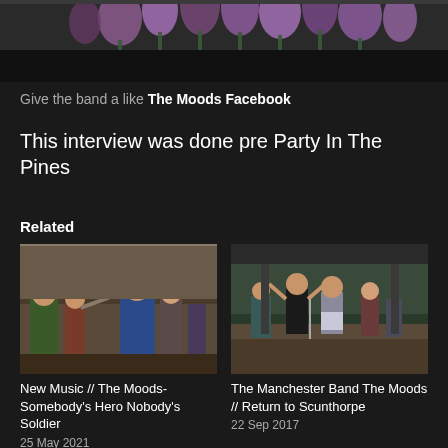[Figure (photo): Top portion of a dark image showing purple tulips/flowers against a dark background, partially cut off. Lower portion is a black rectangle.]
Give the band a like The Moods Facebook
This interview was done pre Party In The Pines
Related
[Figure (photo): Group of people indoors, some playing instruments including a violin, others sitting and standing around in casual clothes.]
New Music // The Moods- Somebody's Hero Nobody's Soldier
25 May 2021
[Figure (photo): Band performing on an outdoor stage, with performers dancing/singing and instruments visible in the background.]
The Manchester Band The Moods // Return to Scunthorpe
22 Sep 2017